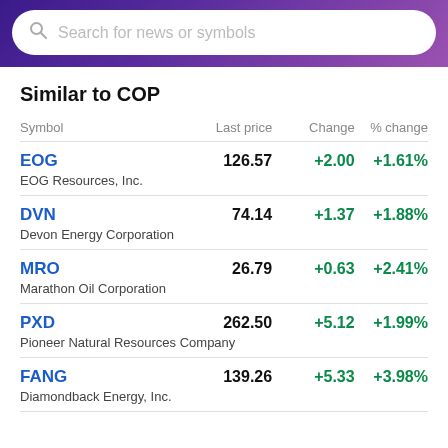Search for news or symbols
Similar to COP
| Symbol | Last price | Change | % change |
| --- | --- | --- | --- |
| EOG
EOG Resources, Inc. | 126.57 | +2.00 | +1.61% |
| DVN
Devon Energy Corporation | 74.14 | +1.37 | +1.88% |
| MRO
Marathon Oil Corporation | 26.79 | +0.63 | +2.41% |
| PXD
Pioneer Natural Resources Company | 262.50 | +5.12 | +1.99% |
| FANG
Diamondback Energy, Inc. | 139.26 | +5.33 | +3.98% |